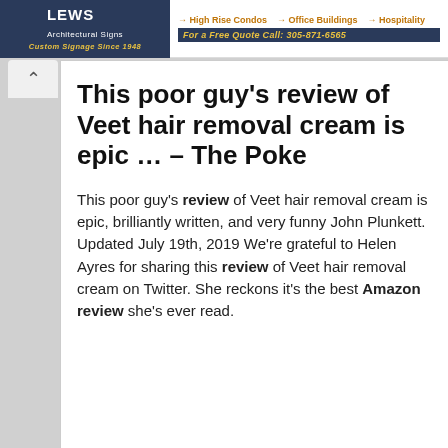[Figure (other): Website banner with logo on left (dark blue background, 'LEWS Architectural Signs, Custom Signage Since 1948') and navigation links on right (High Rise Condos, Office Buildings, Hospitality) with phone number 'For a Free Quote Call: 305-871-6565']
This poor guy’s review of Veet hair removal cream is epic … – The Poke
This poor guy’s review of Veet hair removal cream is epic, brilliantly written, and very funny John Plunkett. Updated July 19th, 2019 We’re grateful to Helen Ayres for sharing this review of Veet hair removal cream on Twitter. She reckons it’s the best Amazon review she’s ever read.